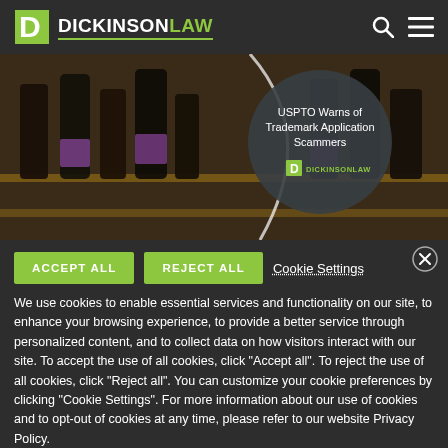[Figure (logo): Dickinson Law logo with green D icon and white/green wordmark on dark background]
[Figure (photo): Hero image showing wine bottles on wooden shelves with a circular overlay containing article title 'USPTO Warns of Trademark Application Scammers' and Dickinson Law branding]
ACCEPT ALL   REJECT ALL   Cookie Settings
We use cookies to enable essential services and functionality on our site, to enhance your browsing experience, to provide a better service through personalized content, and to collect data on how visitors interact with our site. To accept the use of all cookies, click "Accept all". To reject the use of all cookies, click "Reject all". You can customize your cookie preferences by clicking "Cookie Settings". For more information about our use of cookies and to opt-out of cookies at any time, please refer to our website Privacy Policy.